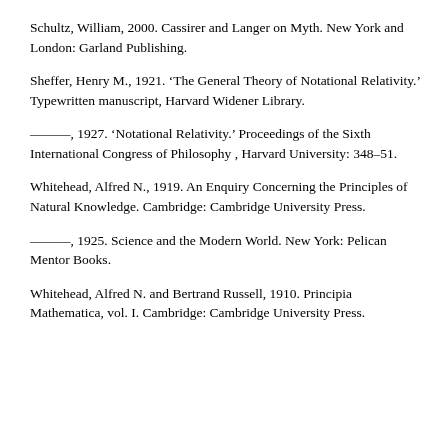Schultz, William, 2000. Cassirer and Langer on Myth. New York and London: Garland Publishing.
Sheffer, Henry M., 1921. ‘The General Theory of Notational Relativity.’ Typewritten manuscript, Harvard Widener Library.
———, 1927. ‘Notational Relativity.’ Proceedings of the Sixth International Congress of Philosophy , Harvard University: 348–51.
Whitehead, Alfred N., 1919. An Enquiry Concerning the Principles of Natural Knowledge. Cambridge: Cambridge University Press.
———, 1925. Science and the Modern World. New York: Pelican Mentor Books.
Whitehead, Alfred N. and Bertrand Russell, 1910. Principia Mathematica, vol. I. Cambridge: Cambridge University Press.